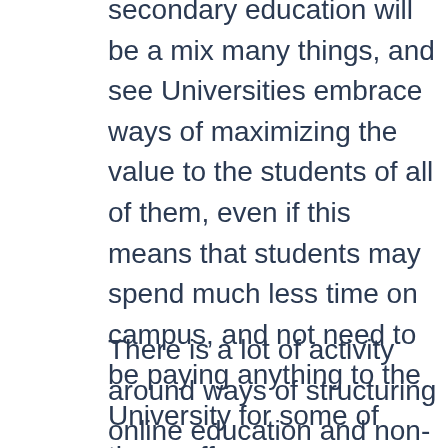secondary education will be a mix many things, and see Universities embrace ways of maximizing the value to the students of all of them, even if this means that students may spend much less time on campus, and not need to be paying anything to the University for some of these off campus activities.[2]
There is a lot of activity around ways of structuring online education and non-traditional certfication, such as micro-degrees or competency-based certification. These activities are